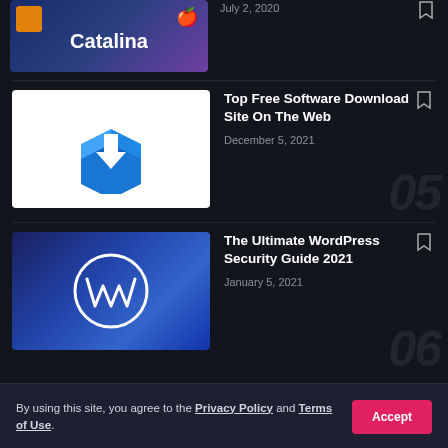[Figure (screenshot): Partial article card showing macOS Catalina thumbnail (top cropped)]
July 2, 2020
[Figure (illustration): Blue download box icon with white downward arrow on white background]
Top Free Software Download Site On The Web
December 5, 2021
[Figure (photo): WordPress logo circle over dark bluish laptop keyboard photo]
The Ultimate WordPress Security Guide 2021
January 5, 2021
By using this site, you agree to the Privacy Policy and Terms of Use.